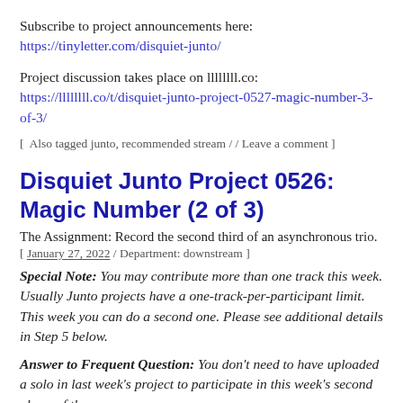Subscribe to project announcements here:
https://tinyletter.com/disquiet-junto/
Project discussion takes place on llllllll.co: https://llllllll.co/t/disquiet-junto-project-0527-magic-number-3-of-3/
[ Also tagged junto, recommended stream / / Leave a comment ]
Disquiet Junto Project 0526: Magic Number (2 of 3)
The Assignment: Record the second third of an asynchronous trio.
[ January 27, 2022 / Department: downstream ]
Special Note: You may contribute more than one track this week. Usually Junto projects have a one-track-per-participant limit. This week you can do a second one. Please see additional details in Step 5 below.
Answer to Frequent Question: You don't need to have uploaded a solo in last week's project to participate in this week's second phase of the